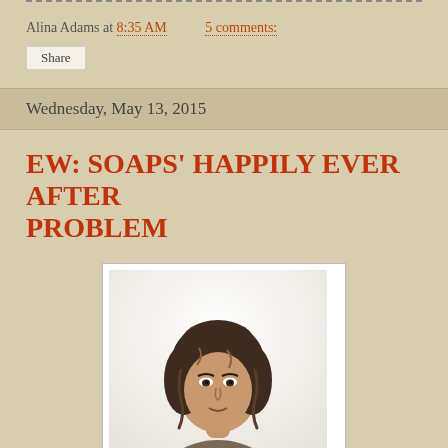into the best Kindergarten for them. Details here.
Alina Adams at 8:35 AM   5 comments:
Share
Wednesday, May 13, 2015
EW: SOAPS' HAPPILY EVER AFTER PROBLEM
[Figure (photo): Portrait photo of a woman with brown wavy hair wearing a dark outfit, white background]